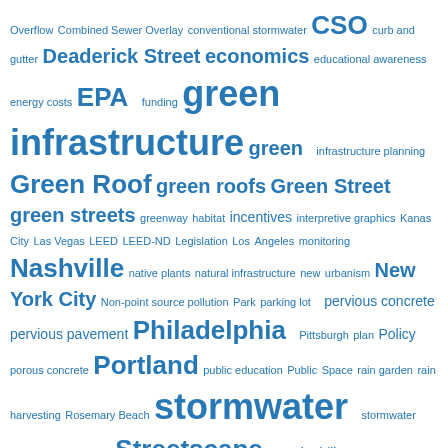[Figure (infographic): Word cloud on the topic of green infrastructure and stormwater management. Words appear in varying font sizes indicating frequency/importance. All words are in shades of blue on white background. Key terms include: green infrastructure (largest), stormwater, Philadelphia, Green Roof, green roofs, Nashville, New York City, Streetscape, Portland, incentives, sustainability, Green Street, green streets, EPA, CSO, pervious concrete, pervious pavement, LEED, LEED-ND, Legislation, and many more.]